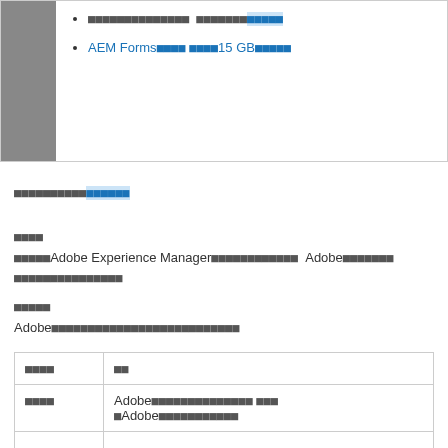[CJK characters] [CJK characters with blue link]
AEM Forms[CJK] [CJK]15 GB[CJK]
[CJK characters with blue link]
[CJK characters]
[CJK]Adobe Experience Manager[CJK] Adobe[CJK][CJK]
[CJK characters]
Adobe[CJK characters]
| [CJK] | [CJK] |
| --- | --- |
| [CJK] | Adobe[CJK] [CJK]Adobe[CJK] |